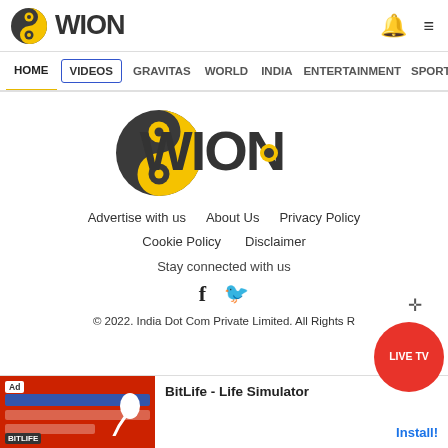WION
HOME | VIDEOS | GRAVITAS | WORLD | INDIA | ENTERTAINMENT | SPORTS
[Figure (logo): WION news logo — dark circular yin-yang style icon with yellow circle, beside bold WION text]
Advertise with us   About Us   Privacy Policy
Cookie Policy   Disclaimer
Stay connected with us
f  (twitter bird icon)
© 2022. India Dot Com Private Limited. All Rights R...
[Figure (other): Red circular LIVE TV button overlay]
[Figure (screenshot): BitLife - Life Simulator advertisement banner with red background, sperm icon, BitLife logo, Install button]